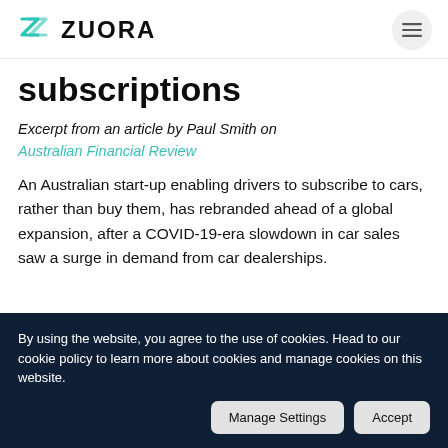ZUORA
subscriptions
Excerpt from an article by Paul Smith on Australian Financial Review
An Australian start-up enabling drivers to subscribe to cars, rather than buy them, has rebranded ahead of a global expansion, after a COVID-19-era slowdown in car sales saw a surge in demand from car dealerships.
By using the website, you agree to the use of cookies. Head to our cookie policy to learn more about cookies and manage cookies on this website.